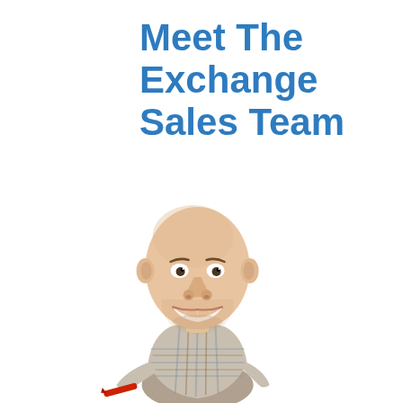Meet The Exchange Sales Team
[Figure (illustration): Caricature illustration of a bald smiling man with a large head wearing a plaid shirt and holding a pen/marker, rendered in a bobblehead cartoon style.]